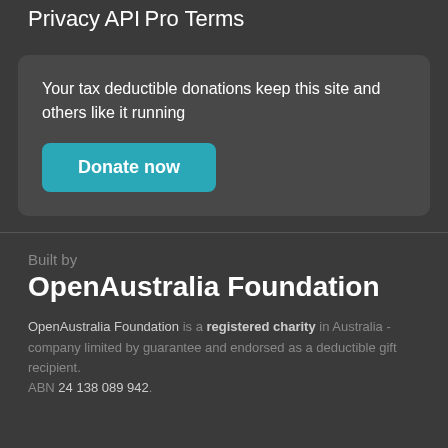Privacy
API
Pro Terms
Your tax deductible donations keep this site and others like it running
Donate now
Built by
OpenAustralia Foundation
OpenAustralia Foundation is a registered charity in Australia - company limited by guarantee and endorsed as a deductible gift recipient. ABN 24 138 089 942.